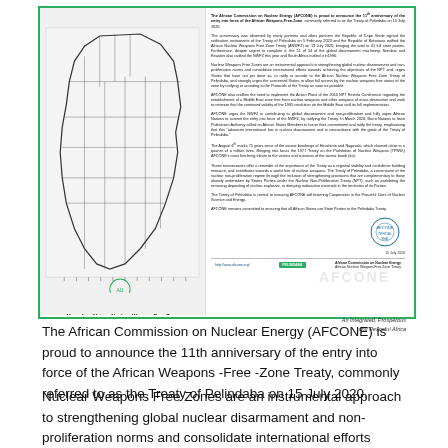[Figure (other): Preview of an AFCONE official document about the 11th anniversary of the Treaty of Pelindaba, featuring a map of the African Nuclear-Weapon-Free Zone on the left and dense text on the right, with AFCONE logo, green badge, and signature.]
Map of an African Nuclear-Weapon-Free Zone
The African Commission on Nuclear Energy (AFCONE) is proud to announce the 11th anniversary of the entry into force of the African Weapons -Free -Zone Treaty, commonly referred to as the Treaty of Pelindaba on 15 July 2020.
Nuclear Weapons Free Zones are an instrumental approach to strengthening global nuclear disarmament and non-proliferation norms and consolidate international efforts towards achieving the objectives of the NPT and, urges States that have not yet done so, to ratify or accede to the African